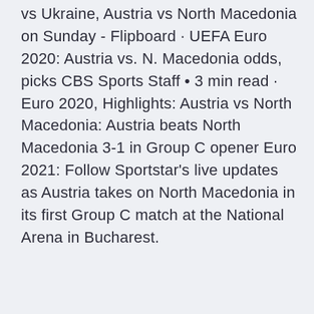vs Ukraine, Austria vs North Macedonia on Sunday - Flipboard · UEFA Euro 2020: Austria vs. N. Macedonia odds, picks CBS Sports Staff • 3 min read · Euro 2020, Highlights: Austria vs North Macedonia: Austria beats North Macedonia 3-1 in Group C opener Euro 2021: Follow Sportstar's live updates as Austria takes on North Macedonia in its first Group C match at the National Arena in Bucharest.